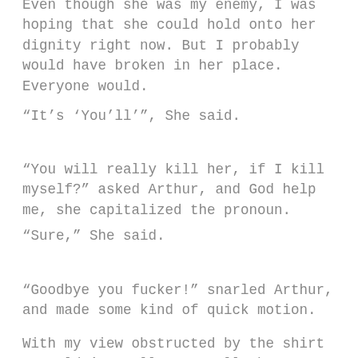Even though she was my enemy, I was hoping that she could hold onto her dignity right now. But I probably would have broken in her place. Everyone would.
“It’s ‘You’ll’”, She said.
“You will really kill her, if I kill myself?” asked Arthur, and God help me, she capitalized the pronoun.
“Sure,” She said.
“Goodbye you fucker!” snarled Arthur, and made some kind of quick motion.
With my view obstructed by the shirt I couldn’t really see well what was happening, but I heard the